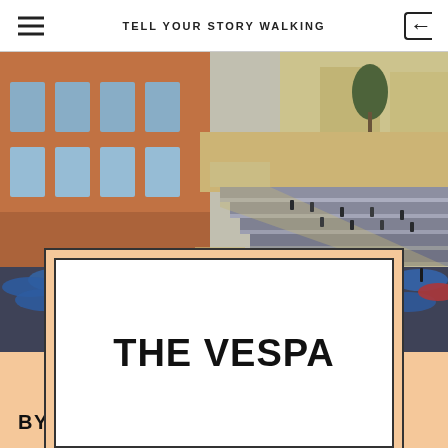TELL YOUR STORY WALKING
[Figure (illustration): Impressionist-style painting of the Spanish Steps in Rome, viewed from above. People with blue umbrellas crowd the bottom square in the rain, while the wide steps lead up to a church in the background. Tall ochre and terracotta buildings flank the left side. The scene is rendered in loose, expressive brushstrokes.]
THE VESPA
BY JUNSHAN FANG